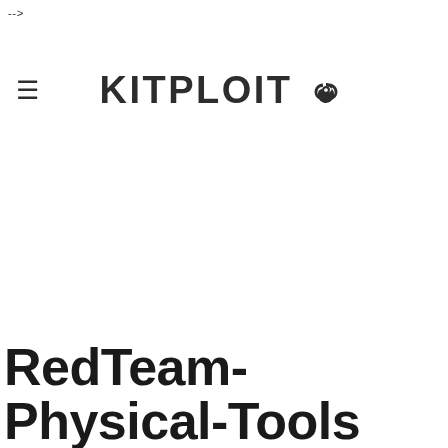-->
KITPLOIT ☣
RedTeam-Physical-Tools